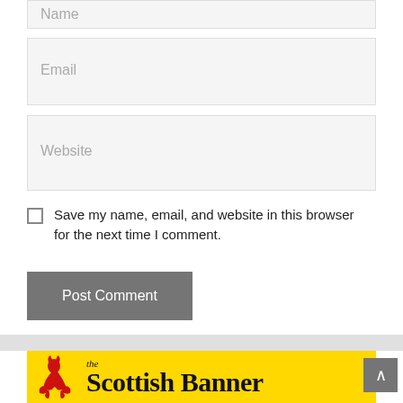[Figure (screenshot): Partial Name input field at top of page, cut off]
[Figure (screenshot): Email input field with placeholder text 'Email']
[Figure (screenshot): Website input field with placeholder text 'Website']
Save my name, email, and website in this browser for the next time I comment.
[Figure (screenshot): Post Comment button in gray]
[Figure (logo): The Scottish Banner logo on yellow background with red lion rampant]